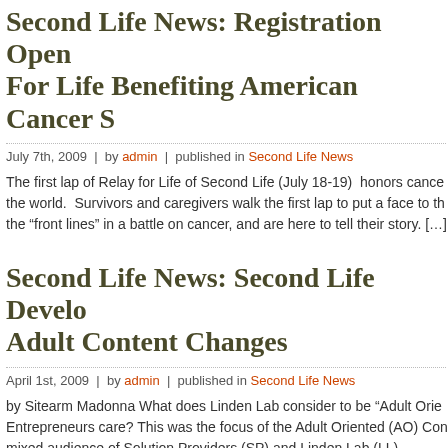Second Life News: Registration Open For Life Benefiting American Cancer S
July 7th, 2009  |  by admin  |  published in Second Life News
The first lap of Relay for Life of Second Life (July 18-19)  honors cance the world.  Survivors and caregivers walk the first lap to put a face to th the “front lines” in a battle on cancer, and are here to tell their story. [...]
Second Life News: Second Life Develo Adult Content Changes
April 1st, 2009  |  by admin  |  published in Second Life News
by Sitearm Madonna What does Linden Lab consider to be “Adult Orie Entrepreneurs care? This was the focus of the Adult Oriented (AO) Con mixed audience of Solution Providers (SP) and Linden Lab (LL) Employ